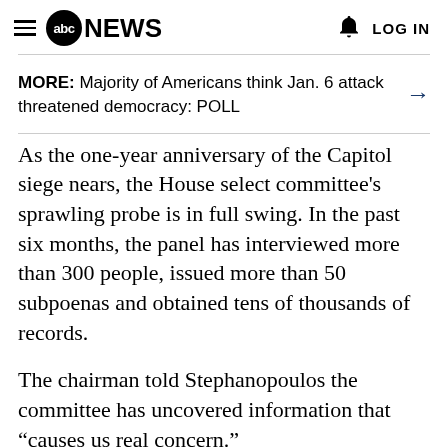abc NEWS  LOG IN
MORE: Majority of Americans think Jan. 6 attack threatened democracy: POLL →
As the one-year anniversary of the Capitol siege nears, the House select committee's sprawling probe is in full swing. In the past six months, the panel has interviewed more than 300 people, issued more than 50 subpoenas and obtained tens of thousands of records.
The chairman told Stephanopoulos the committee has uncovered information that "causes us real concern."